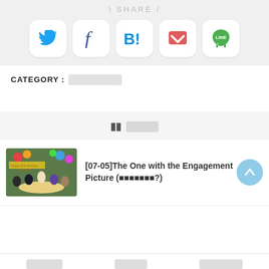\ SHARE /
[Figure (infographic): Row of 5 social share buttons: Twitter (bird icon), Facebook (f), Hatena Bookmark (B!), Pocket (envelope icon), LINE (speech bubble with LINE text)]
CATEGORY : ■■■■■■■■■■
🔖 ■■■■
[Figure (photo): TV show scene with group of people sitting around a table at a birthday party with balloons and a banner reading Happy 30th Birthday Rachel]
[07-05]The One with the Engagement Picture (■■■■■■■?)
■■■■■■ ■■■■■ 24■■■■■■